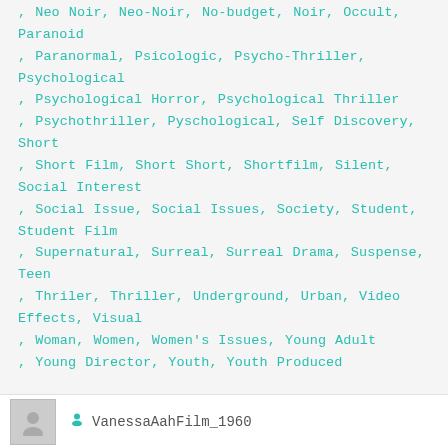, Neo Noir, Neo-Noir, No-budget, Noir, Occult, Paranoid , Paranormal, Psicologic, Psycho-Thriller, Psychological , Psychological Horror, Psychological Thriller , Psychothriller, Pyschological, Self Discovery, Short , Short Film, Short Short, Shortfilm, Silent, Social Interest , Social Issue, Social Issues, Society, Student, Student Film , Supernatural, Surreal, Surreal Drama, Suspense, Teen , Thriler, Thriller, Underground, Urban, Video Effects, Visual , Woman, Women, Women's Issues, Young Adult , Young Director, Youth, Youth Produced
READ MORE
Photo Solo
VanessaAahFilm_1960